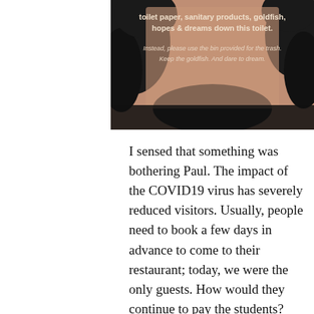[Figure (photo): Partial image showing a humorous bathroom sign on a pinkish-brown background with black paint splashes. Text reads: 'toilet paper, sanitary products, goldfish, hopes & dreams down this toilet. Instead, please use the bin provided for the trash. Keep the goldfish. And dare to dream.']
I sensed that something was bothering Paul. The impact of the COVID19 virus has severely reduced visitors. Usually, people need to book a few days in advance to come to their restaurant; today, we were the only guests. How would they continue to pay the students?
Also, the economic situation here is unstable. Paul has predicted that many local people will lose their homes, as they often use this as collateral for the loan sharks, a big problem here.